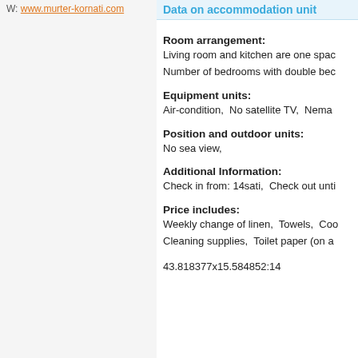W: www.murter-kornati.com
Data on accommodation unit
Room arrangement:
Living room and kitchen are one spac
Number of bedrooms with double bec
Equipment units:
Air-condition,  No satellite TV,  Nema
Position and outdoor units:
No sea view,
Additional Information:
Check in from: 14sati,  Check out unti
Price includes:
Weekly change of linen,  Towels,  Coo
Cleaning supplies,  Toilet paper (on a
43.818377x15.584852:14